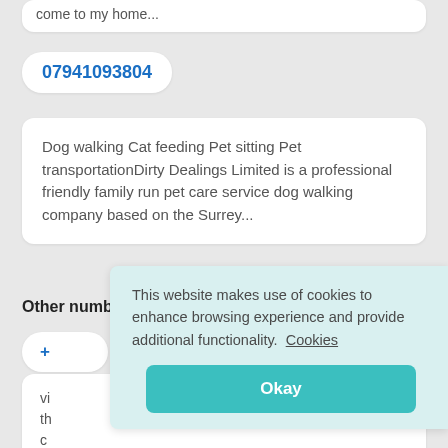come to my home...
07941093804
Dog walking Cat feeding Pet sitting Pet transportationDirty Dealings Limited is a professional friendly family run pet care service dog walking company based on the Surrey...
Other numbers
+[partially visible number]
vi... th... c...
This website makes use of cookies to enhance browsing experience and provide additional functionality.  Cookies
Okay